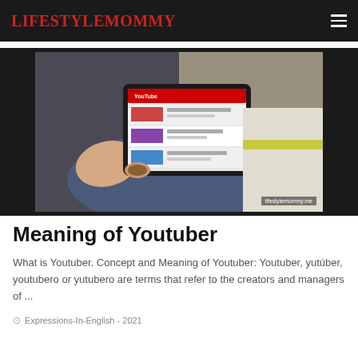LIFESTYLEMOMMY
[Figure (photo): Person holding a tablet displaying YouTube interface while seated on a couch, with watermark 'lifestylemommy.me']
Meaning of Youtuber
What is Youtuber. Concept and Meaning of Youtuber: Youtuber, yutúber, youtubero or yutubero are terms that refer to the creators and managers of ...
Expressions-In-English - 2021